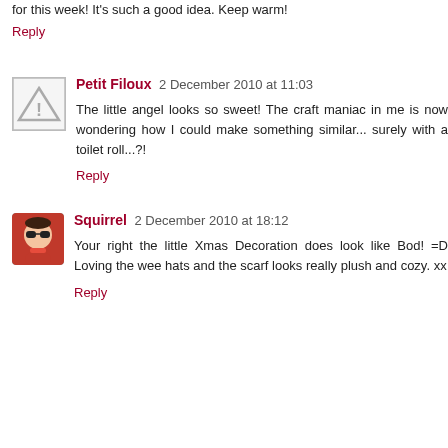for this week! It's such a good idea. Keep warm!
Reply
Petit Filoux  2 December 2010 at 11:03
The little angel looks so sweet! The craft maniac in me is now wondering how I could make something similar... surely with a toilet roll...?!
Reply
Squirrel  2 December 2010 at 18:12
Your right the little Xmas Decoration does look like Bod! =D Loving the wee hats and the scarf looks really plush and cozy. xx
Reply